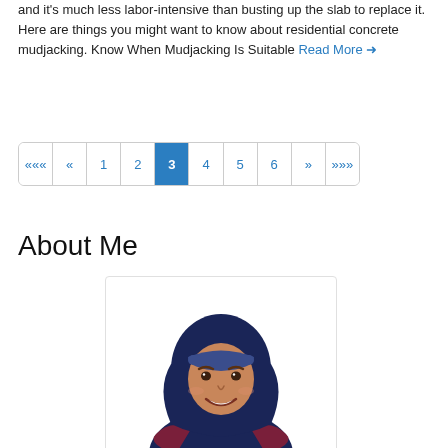and it's much less labor-intensive than busting up the slab to replace it. Here are things you might want to know about residential concrete mudjacking. Know When Mudjacking Is Suitable Read More →
Pagination: ««« « 1 2 3 4 5 6 » »»»
About Me
[Figure (illustration): Flat vector illustration of a smiling woman wearing a dark blue hijab and dark clothing, shown from the shoulders up, against a white background with a light grey border.]